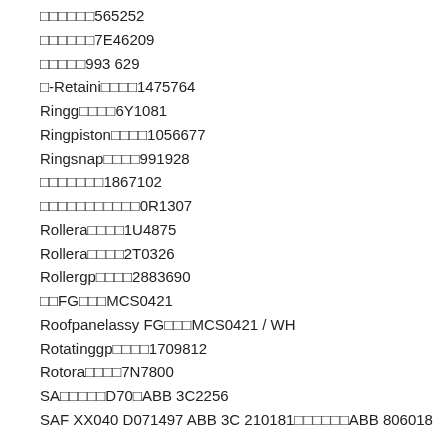□□□□□□565252
□□□□□□7E46209
□□□□□993 629
□-Retaini□□□□1475764
Ringg□□□□6Y1081
Ringpiston□□□□1056677
Ringsnap□□□□991928
□□□□□□□1867102
□□□□□□□□□□□0R1307
Rollera□□□□1U4875
Rollera□□□□2T0326
Rollergp□□□□2883690
□□FG□□□MCS0421
Roofpanelassy FG□□□MCS0421 / WH
Rotatinggp□□□□1709812
Rotora□□□□7N7800
SA□□□□□D70□ABB 3C2256
SAF XX040 D071497 ABB 3C 210181□□□□□□ABB 806018